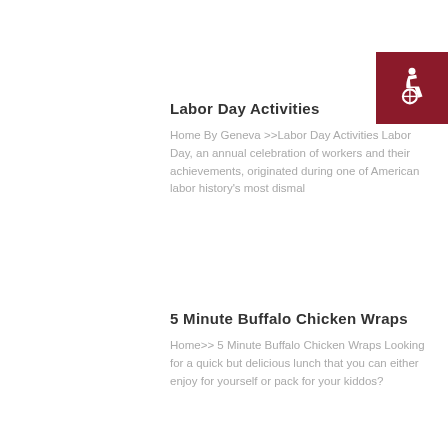[Figure (illustration): Accessibility wheelchair icon in dark red/maroon square, positioned top right]
Labor Day Activities
Home By Geneva >>Labor Day Activities Labor Day, an annual celebration of workers and their achievements, originated during one of American labor history's most dismal
5 Minute Buffalo Chicken Wraps
Home>> 5 Minute Buffalo Chicken Wraps Looking for a quick but delicious lunch that you can either enjoy for yourself or pack for your kiddos?